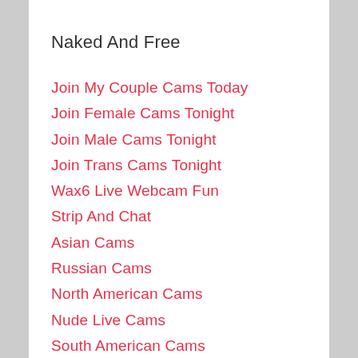Naked And Free
Join My Couple Cams Today
Join Female Cams Tonight
Join Male Cams Tonight
Join Trans Cams Tonight
Wax6 Live Webcam Fun
Strip And Chat
Asian Cams
Russian Cams
North American Cams
Nude Live Cams
South American Cams
Categorized Porn Links
Live Chat Access